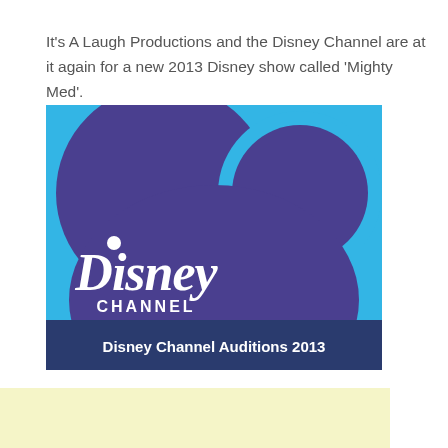It's A Laugh Productions and the Disney Channel are at it again for a new 2013 Disney show called 'Mighty Med'.
[Figure (illustration): Disney Channel logo with Mickey Mouse ear silhouette in purple and teal/blue colors, with a dark navy banner at the bottom reading 'Disney Channel Auditions 2013']